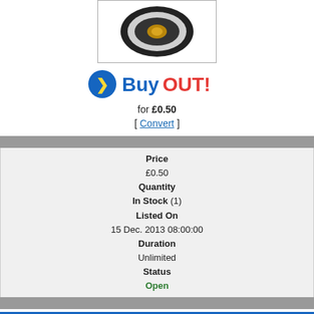[Figure (photo): Product photo of a bearing/mechanical component with black rubber seal and metallic ring, shown on white background, inside a bordered box.]
[Figure (logo): BuyOut! logo with blue circle containing yellow chevron arrow, followed by 'Buy' in blue bold text and 'OUT!' in red bold text.]
for £0.50
[ Convert ]
| Price |
| £0.50 |
| Quantity |
| In Stock (1) |
| Listed On |
| 15 Dec. 2013 08:00:00 |
| Duration |
| Unlimited |
| Status |
| Open |
Poster Information